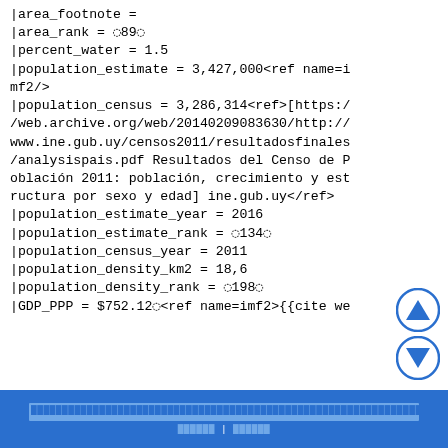|area_footnote =
|area_rank = ◌89◌
|percent_water = 1.5
|population_estimate = 3,427,000<ref name=imf2/>
|population_census = 3,286,314<ref>[https://web.archive.org/web/20140209083630/http://www.ine.gub.uy/censos2011/resultadosfinales/analysispais.pdf Resultados del Censo de Población 2011: población, crecimiento y estructura por sexo y edad] ine.gub.uy</ref>
|population_estimate_year = 2016
|population_estimate_rank = ◌134◌
|population_census_year = 2011
|population_density_km2 = 18,6
|population_density_rank = ◌198◌
|GDP_PPP = $752.12◌<ref name=imf2>{{cite we
░░░░░░░░░░░░░░░░░░░░░░░░░░░░░░░░░░░░░░░░░░░░░░░░░░░░░░░░░░░░░░░░░░░░░░░░░░░░░░░░░░░░░░░░░░░░░░    ░░░░░░ | ░░░░░░